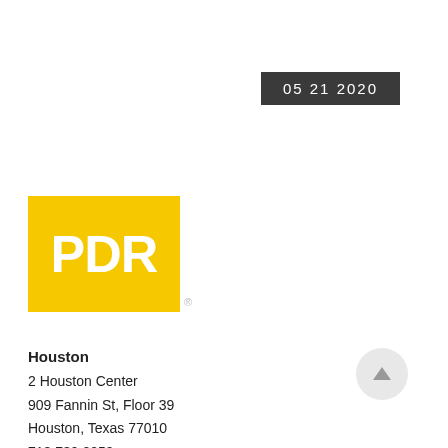05 21 2020
[Figure (logo): PDR logo — white bold text 'PDR' on yellow square background with registered trademark symbol]
Houston
2 Houston Center
909 Fannin St, Floor 39
Houston, Texas 77010
713 739 0050